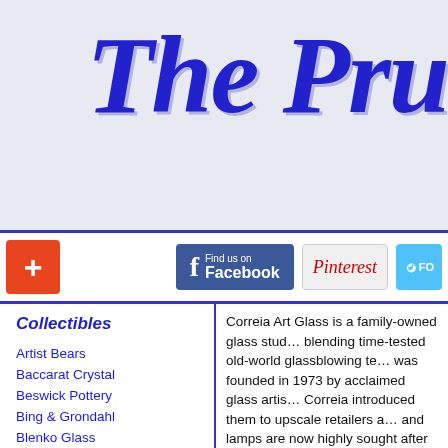The Pru...
[Figure (logo): Decorative script logo reading 'The Pru' in blue italic font with shadow effect]
[Figure (infographic): Navigation bar with orange plus button, Facebook button, Pinterest button, Twitter button]
Collectibles
Artist Bears
Baccarat Crystal
Beswick Pottery
Bing & Grondahl
Blenko Glass
Carl Radke Art Glass
Clarice Cliff
Correia Art Glass
Cow Parade
Dale Chihuly Glass
Daum Crystal
Department 56
Disney
Durand Art Glass
Ephraim Pottery
Faberge
Fenton Art Glass
Giuseppe Armani
Correia Art Glass is a family-owned glass studio blending time-tested old-world glassblowing techniques... was founded in 1973 by acclaimed glass artist... Correia introduced them to upscale retailers and lamps are now highly sought after by collectors.
In 1989 Steven founded another studio, Correia... the purest crystal. Correia Art Glass is now in... as the chief designer while Jeffrey Correia continues from his father.
Correia Art Glass holds the distinction of having... the Chrysler Museum of Art and the Corning M... wide variety of Correia art glass items. We also... Radke, Dale Chihuly, Orient and Flume, Lundb...
What you see here is a sampling of all t...